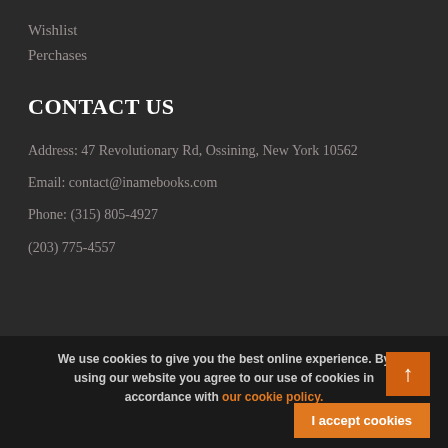Wishlist
Perchases
CONTACT US
Address: 47 Revolutionary Rd, Ossining, New York 10562
Email: contact@inamebooks.com
Phone: (315) 805-4927
(203) 775-4557
We use cookies to give you the best online experience. By using our website you agree to our use of cookies in accordance with our cookie policy.